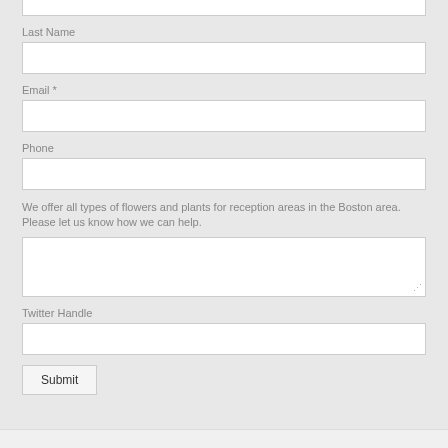Last Name
Email *
Phone
We offer all types of flowers and plants for reception areas in the Boston area. Please let us know how we can help.
Twitter Handle
Submit